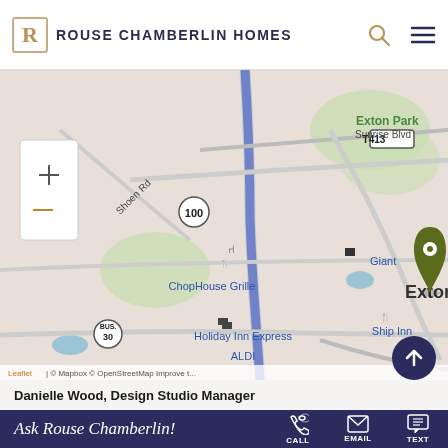Rouse Chamberlin Homes
[Figure (map): Street map showing Exton, PA area with location pin marker near T413 road, showing landmarks: Exton Park, Shoen Rd, Sunrise Blvd, N Ship Rd, ChopHouse Grille, Giant, Holiday Inn Express, ALDI, Ship Inn, Iron Lake. Route 100 and BUS 30 visible. Leaflet | © Mapbox © OpenStreetMap Improve t...]
Danielle Wood, Design Studio Manager
Ask Rouse Chamberlin! CALL EMAIL TEXT